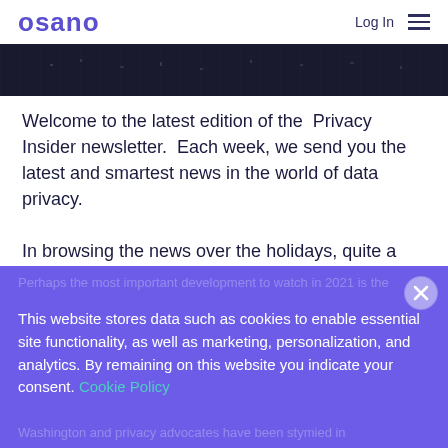osano  Log In
[Figure (photo): Dark aerial/cityscape banner image with grid-like overlay]
Welcome to the latest edition of the Privacy Insider newsletter. Each week, we send you the latest and smartest news in the world of data privacy.
In browsing the news over the holidays, quite a few stories have been published that look back on the privacy trends of 2020 and forward to what to expect in 2021.
This website stores data such as cookies to enable essential site functionality, as well as marketing, personalization, and analytics. By remaining on this website you indicate your consent. Cookie Policy